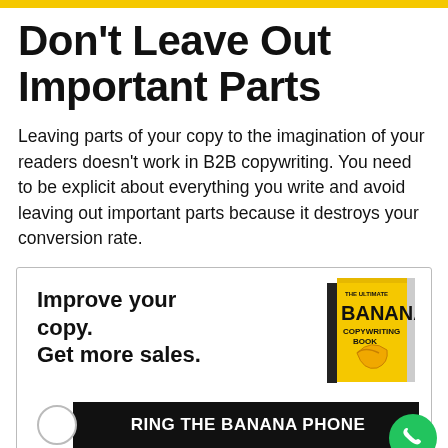Don't Leave Out Important Parts
Leaving parts of your copy to the imagination of your readers doesn't work in B2B copywriting. You need to be explicit about everything you write and avoid leaving out important parts because it destroys your conversion rate.
[Figure (infographic): Advertisement box with text 'Improve your copy. Get more sales.' alongside a yellow book cover titled 'The Ultimate Banana Copywriting Book', and a black CTA button reading 'RING THE BANANA PHONE' with a green phone bubble icon.]